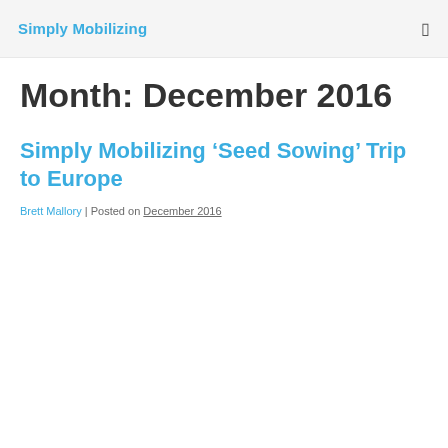Simply Mobilizing
Month: December 2016
Simply Mobilizing ‘Seed Sowing’ Trip to Europe
Brett Mallory | Posted on December 2016